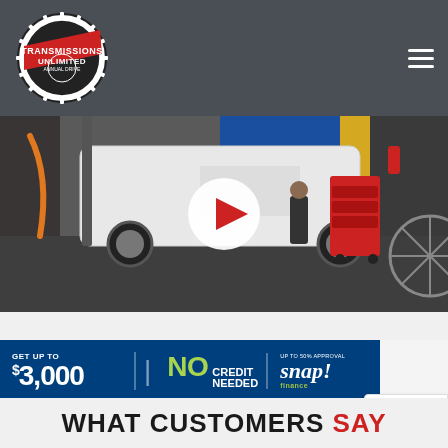[Figure (logo): Transmissions Unlimited circular logo with gear border and red banner, white and black design]
[Figure (photo): Auto repair shop interior showing a white minivan on a lift with a mechanic working on it, red tool cart, blue walls, industrial fan visible]
[Figure (infographic): Snap Finance banner: GET UP TO $3,000 | NO CREDIT NEEDED | snap! finance logo]
[Figure (logo): reCAPTCHA badge with circular arrow logo]
WHAT CUSTOMERS SAY